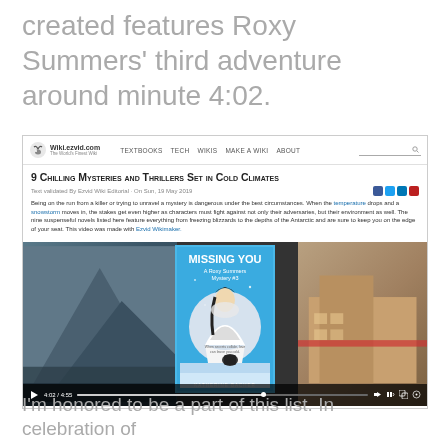created features Roxy Summers' third adventure around minute 4:02.
[Figure (screenshot): Screenshot of wiki.ezvid.com article titled '9 Chilling Mysteries and Thrillers Set in Cold Climates' with a video player showing the book cover 'Missing You: A Roxy Summers Mystery #3' by Katherine Bacher, video paused at 4:02/4:55]
I'm honored to be a part of this list. In celebration of